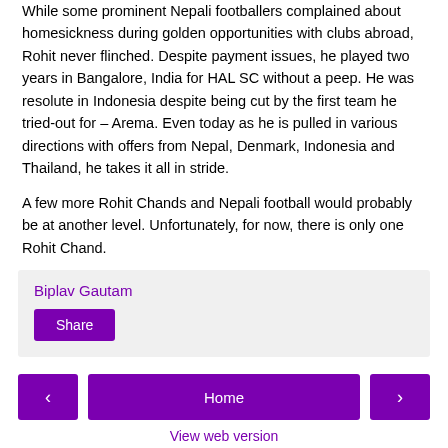While some prominent Nepali footballers complained about homesickness during golden opportunities with clubs abroad, Rohit never flinched. Despite payment issues, he played two years in Bangalore, India for HAL SC without a peep. He was resolute in Indonesia despite being cut by the first team he tried-out for – Arema. Even today as he is pulled in various directions with offers from Nepal, Denmark, Indonesia and Thailand, he takes it all in stride.
A few more Rohit Chands and Nepali football would probably be at another level. Unfortunately, for now, there is only one Rohit Chand.
Biplav Gautam
Share
‹
Home
›
View web version